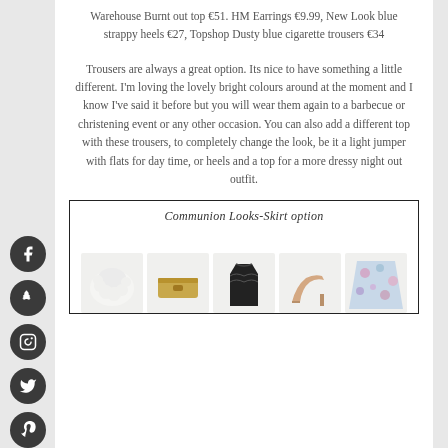Warehouse Burnt out top €51. HM Earrings €9.99, New Look blue strappy heels €27, Topshop Dusty blue cigarette trousers €34
Trousers are always a great option. Its nice to have something a little different. I'm loving the lovely bright colours around at the moment and I know I've said it before but you will wear them again to a barbecue or christening event or any other occasion. You can also add a different top with these trousers, to completely change the look, be it a light jumper with flats for day time, or heels and a top for a more dressy night out outfit.
[Figure (illustration): Framed box labeled 'Communion Looks-Skirt option' containing illustrations of clothing items including a white fluffy top, a gold clutch, a black lace camisole, a nude heel, and a floral patterned skirt.]